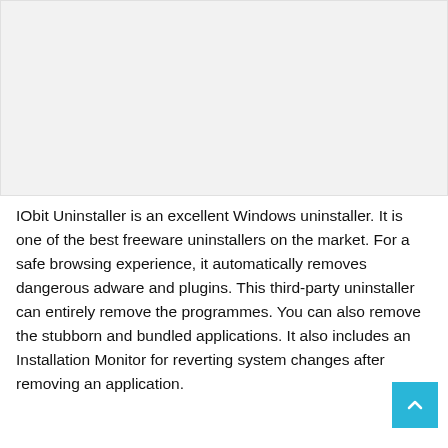[Figure (other): Gray placeholder image area at the top of the page]
IObit Uninstaller is an excellent Windows uninstaller. It is one of the best freeware uninstallers on the market. For a safe browsing experience, it automatically removes dangerous adware and plugins. This third-party uninstaller can entirely remove the programmes. You can also remove the stubborn and bundled applications. It also includes an Installation Monitor for reverting system changes after removing an application.